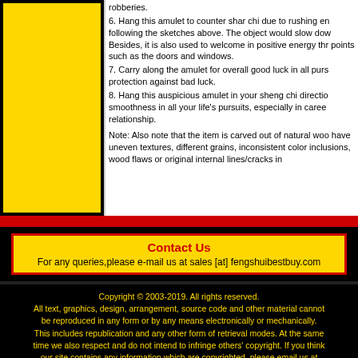robberies.
6. Hang this amulet to counter shar chi due to rushing en following the sketches above. The object would slow dow Besides, it is also used to welcome in positive energy thr points such as the doors and windows.
7. Carry along the amulet for overall good luck in all purs protection against bad luck.
8. Hang this auspicious amulet in your sheng chi directio smoothness in all your life's pursuits, especially in caree relationship.
Note: Also note that the item is carved out of natural woo have uneven textures, different grains, inconsistent color inclusions, wood flaws or original internal lines/cracks in
Contact Us
For any queries,please e-mail us at sales [at] fengshuibestbuy.com
Copyright © 2003-2019. All rights reserved. All text, graphics, design, arrangement, source code and other material cannot be reproduced in any form or by any means electronically or mechanically. This includes republication and any other form of retrieval modes. At the same time we also respect and do not intend to infringe others' copyright. If you think our site contains any information which are copyrighted, please email us at sales [at] fengshuibestbuy.com to make a complain.